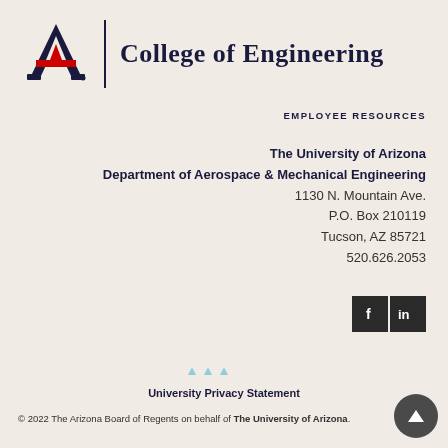[Figure (logo): University of Arizona College of Engineering logo with stylized A in navy and red, vertical divider line, and 'College of Engineering' text in navy]
EMPLOYEE RESOURCES
The University of Arizona
Department of Aerospace & Mechanical Engineering
1130 N. Mountain Ave.
P.O. Box 210119
Tucson, AZ 85721
520.626.2053
[Figure (illustration): Social media icons: Facebook (f) and LinkedIn (in) in dark square buttons]
[Figure (illustration): Three small light blue upward-pointing triangles decorative element]
University Privacy Statement
© 2022 The Arizona Board of Regents on behalf of The University of Arizona.